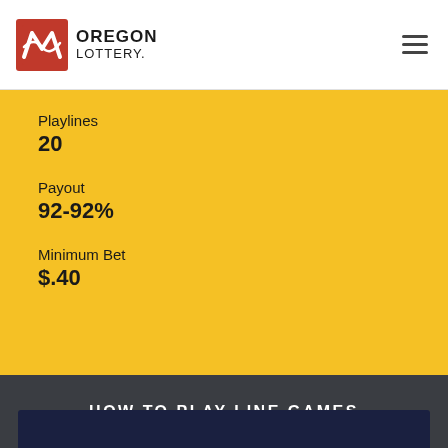Oregon Lottery
Playlines
20
Payout
92-92%
Minimum Bet
$.40
HOW TO PLAY LINE GAMES
[Figure (other): Dark navy blue video player area at the bottom of the page]